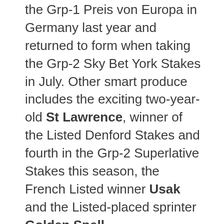the Grp-1 Preis von Europa in Germany last year and returned to form when taking the Grp-2 Sky Bet York Stakes in July. Other smart produce includes the exciting two-year-old St Lawrence, winner of the Listed Denford Stakes and fourth in the Grp-2 Superlative Stakes this season, the French Listed winner Usak and the Listed-placed sprinter Golden Spell.
Although a middle distance performance himself, Al Kazeem has quickly demonstrated his ability to get quality runners over varying trips, and this trait suggests he is a very good match for the similarly versatile Go Between.
Raffles Rebel is a strikingly attractive individual with high-class pedigree